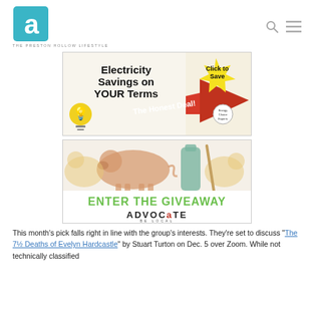[Figure (logo): The Preston Hollow Lifestyle logo: stylized letter 'a' in teal/blue square, with tagline 'THE PRESTON HOLLOW LIFESTYLE' below]
[Figure (infographic): Advertisement banner: 'Electricity Savings on YOUR Terms' with red arrow, yellow starburst 'Click to Save', lightbulb graphic, 'The Honest Deal!' text, Energy Choice Experts logo]
[Figure (infographic): Advocate Be Local giveaway banner: colorful animal silhouettes (pig, chicken, etc.), 'ENTER THE GIVEAWAY' in green text, 'ADVOCATE BE LOCAL' logo]
This month's pick falls right in line with the group's interests. They're set to discuss “The 7½ Deaths of Evelyn Hardcastle” by Stuart Turton on Dec. 5 over Zoom. While not technically classified